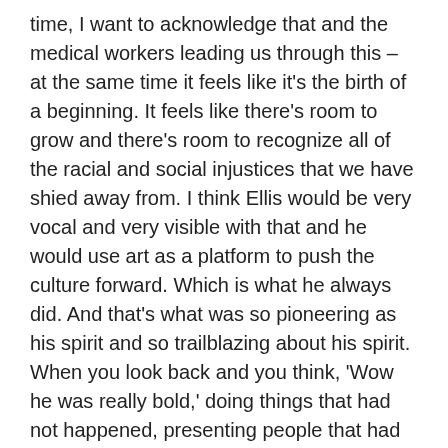time, I want to acknowledge that and the medical workers leading us through this – at the same time it feels like it's the birth of a beginning. It feels like there's room to grow and there's room to recognize all of the racial and social injustices that we have shied away from. I think Ellis would be very vocal and very visible with that and he would use art as a platform to push the culture forward. Which is what he always did. And that's what was so pioneering as his spirit and so trailblazing about his spirit. When you look back and you think, 'Wow he was really bold,' doing things that had not happened, presenting people that had never been seen, and demanding that we be treated equally. And that the perception of African American culture needs to expand.
I think he would do the same for this moment – he would seize the moment. We wear our politics, our